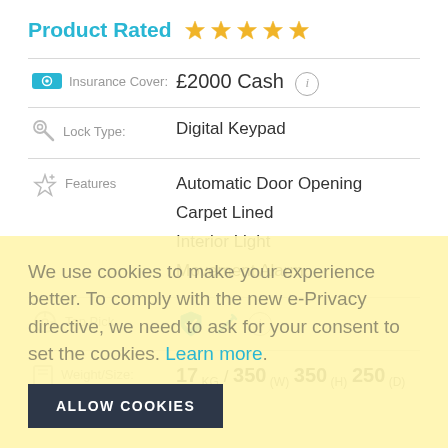Product Rated ★★★★★
| Icon/Label | Value |
| --- | --- |
| Insurance Cover | £2000 Cash |
| Lock Type | Digital Keypad |
| Features | Automatic Door Opening
Carpet Lined
Interior Light
Movement Alarm |
| Top Pick | [checkmark icon] [pencil icon] (i) |
| Weight/Size | 17 (KG) / 350 (W) 350 (H) 250 (D) |
We use cookies to make your experience better. To comply with the new e-Privacy directive, we need to ask for your consent to set the cookies. Learn more.
ALLOW COOKIES